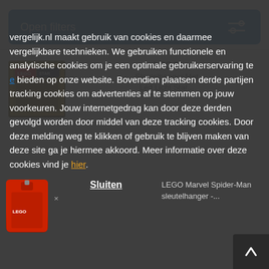[Figure (screenshot): Blue 'Open filters' button with filter icon on right, followed by a product listing page with a cookie consent overlay. The overlay shows Dutch cookie consent text with a link 'hier' and a 'Sluiten' close button. Behind the overlay are product images including LEGO Star Wars keychain and LEGO Marvel Spider-Man keychain.]
vergelijk.nl maakt gebruik van cookies en daarmee vergelijkbare technieken. We gebruiken functionele en analytische cookies om je een optimale gebruikerservaring te bieden op onze website. Bovendien plaatsen derde partijen tracking cookies om advertenties af te stemmen op jouw voorkeuren. Jouw internetgedrag kan door deze derden gevolgd worden door middel van deze tracking cookies. Door deze melding weg te klikken of gebruik te blijven maken van deze site ga je hiermee akkoord. Meer informatie over deze cookies vind je hier.
Sluiten